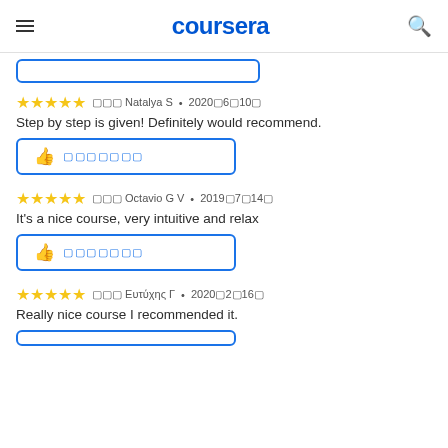coursera
⭐⭐⭐⭐⭐ 閉じる Natalya S · 2020年6月10日
Step by step is given! Definitely would recommend.
👍 役に立った
⭐⭐⭐⭐⭐ 閉じる Octavio G V · 2019年7月14日
It's a nice course, very intuitive and relax
👍 役に立った
⭐⭐⭐⭐⭐ 閉じる Ευτύχης Γ · 2020年2月16日
Really nice course I recommended it.